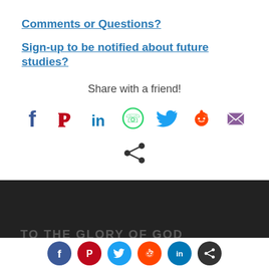Comments or Questions?
Sign-up to be notified about future studies?
Share with a friend!
[Figure (infographic): Row of social media share icons: Facebook (blue f), Pinterest (red P), LinkedIn (teal in), WhatsApp (green phone), Twitter (blue bird), Reddit (orange alien), Email (purple envelope), plus a share icon below]
[Figure (infographic): Dark footer bar with text 'TO THE GLORY OF GOD' and a bottom social share bar with circular icons for Facebook, Pinterest, Twitter, Reddit, LinkedIn, and share]
TO THE GLORY OF GOD